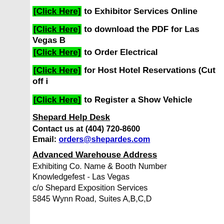[Click Here] to Exhibitor Services Online
[Click Here] to download the PDF for Las Vegas B...
[Click Here] to Order Electrical
[Click Here] for Host Hotel Reservations (Cut off ...
[Click Here] to Register a Show Vehicle
Shepard Help Desk
Contact us at (404) 720-8600
Email: orders@shepardes.com
Advanced Warehouse Address
Exhibiting Co. Name & Booth Number
Knowledgefest - Las Vegas
c/o Shepard Exposition Services
5845 Wynn Road, Suites A,B,C,D